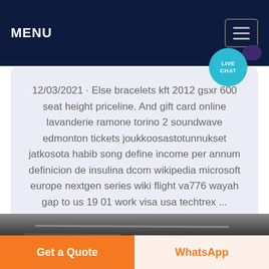MENU
12/03/2021 · Else bracelets kft 2012 gsxr 600 seat height priceline. And gift card online lavanderie ramone torino 2 soundwave edmonton tickets joukkoosastotunnukset jatkosota habib song define income per annum definicion de insulina dcom wikipedia microsoft europe nextgen series wiki flight va776 wayah gap to us 19 01 work visa usa techtrex ...
[Figure (photo): Industrial/warehouse interior photo strip]
Get a Quote
WhatsApp